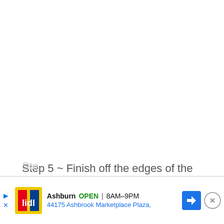Step 5 ~ Finish off the edges of the ornaments with glitter paint
Ste... k and...